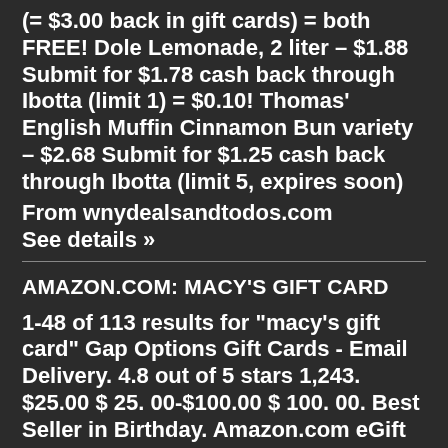(= $3.00 back in gift cards) = both FREE! Dole Lemonade, 2 liter – $1.88 Submit for $1.78 cash back through Ibotta (limit 1) = $0.10! Thomas' English Muffin Cinnamon Bun variety – $2.68 Submit for $1.25 cash back through Ibotta (limit 5, expires soon)
From wnydealsandtodos.com
See details »
AMAZON.COM: MACY'S GIFT CARD
1-48 of 113 results for "macy's gift card" Gap Options Gift Cards - Email Delivery. 4.8 out of 5 stars 1,243. $25.00 $ 25. 00-$100.00 $ 100. 00. Best Seller in Birthday. Amazon.com eGift Card. 4.8 out of 5 stars 728,430. $1.00 $ 1. 00-$2,000.00